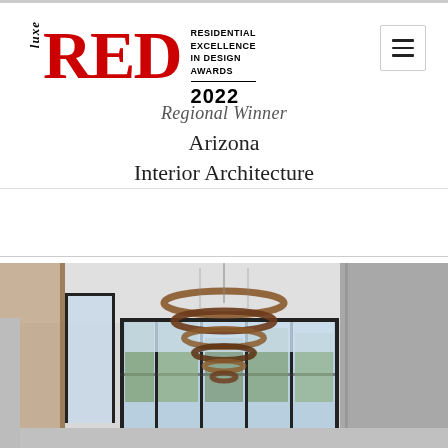[Figure (logo): Luxe RED - Residential Excellence in Design Awards 2022 logo with hamburger menu icon]
Regional Winner
Arizona
Interior Architecture
[Figure (photo): Interior architecture photo showing a modern entryway with a large spiral chandelier with bronze/wood rings, floor-to-ceiling windows looking out to trees, concrete walls, and a high ceiling.]